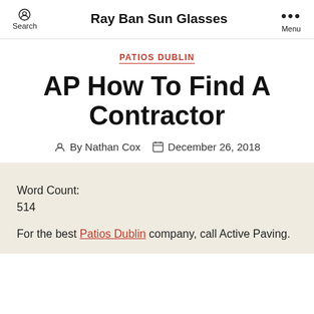Ray Ban Sun Glasses
PATIOS DUBLIN
AP How To Find A Contractor
By Nathan Cox  December 26, 2018
Word Count:
514
For the best Patios Dublin company, call Active Paving.